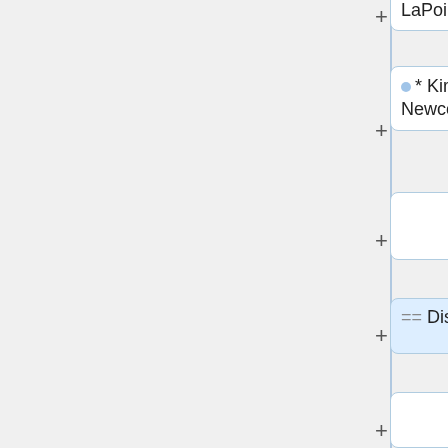LaPointe
* Kirsten Newcomer
== Discussion ==
Initial focus is on reworking the Home page for spdx.org; we'll tackle other pages after that. Discussion points covered items such as format, navigation, work group wiki